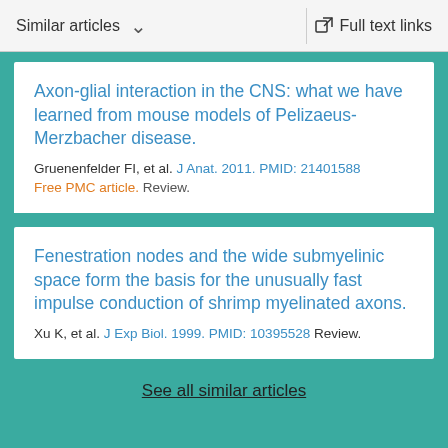Similar articles   Full text links
Axon-glial interaction in the CNS: what we have learned from mouse models of Pelizaeus-Merzbacher disease.
Gruenenfelder FI, et al. J Anat. 2011. PMID: 21401588
Free PMC article. Review.
Fenestration nodes and the wide submyelinic space form the basis for the unusually fast impulse conduction of shrimp myelinated axons.
Xu K, et al. J Exp Biol. 1999. PMID: 10395528 Review.
See all similar articles